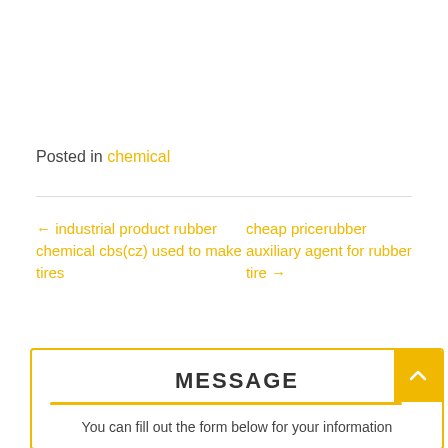Posted in chemical
← industrial product rubber chemical cbs(cz) used to make tires
cheap pricerubber auxiliary agent for rubber tire →
MESSAGE
You can fill out the form below for your information